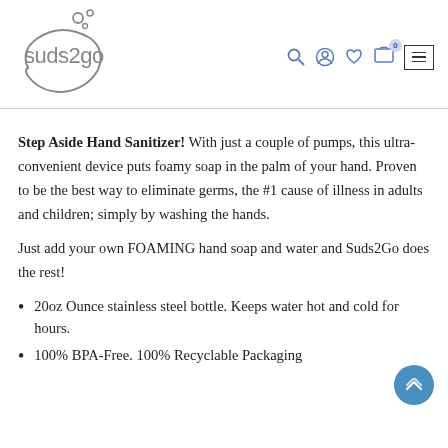[Figure (logo): Suds2Go logo with circular bubbles graphic and brand name]
[Figure (infographic): Navigation icons: search, account, heart/wishlist, cart with badge showing 0, hamburger menu]
Step Aside Hand Sanitizer!  With just a couple of pumps, this ultra-convenient device puts foamy soap in the palm of your hand.  Proven to be the best way to eliminate germs, the #1 cause of illness in adults and children; simply by washing the hands.
Just add your own FOAMING hand soap and water and Suds2Go does the rest!
20oz Ounce stainless steel bottle. Keeps water hot and cold for hours.
100% BPA-Free. 100% Recyclable Packaging